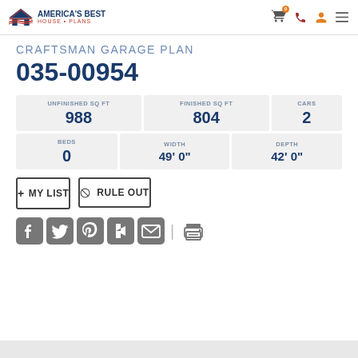America's Best House Plans — navigation header
CRAFTSMAN GARAGE PLAN
035-00954
| UNFINISHED SQ FT | FINISHED SQ FT | CARS |
| --- | --- | --- |
| 988 | 804 | 2 |
| BEDS | WIDTH | DEPTH |
| --- | --- | --- |
| 0 | 49' 0" | 42' 0" |
+ MY LIST
⊘ RULE OUT
[Figure (other): Social media sharing icons: Facebook, Twitter, Pinterest, Houzz, Email, separator, Print]